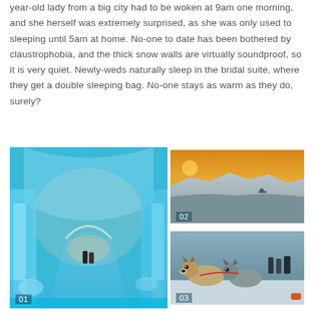year-old lady from a big city had to be woken at 9am one morning, and she herself was extremely surprised, as she was only used to sleeping until 5am at home. No-one to date has been bothered by claustrophobia, and the thick snow walls are virtually soundproof, so it is very quiet. Newly-weds naturally sleep in the bridal suite, where they get a double sleeping bag. No-one stays as warm as they do, surely?
[Figure (photo): Interior of an ice hotel corridor with blue glowing ice walls and arched ceiling, two people visible in the distance, numbered 01]
[Figure (photo): Aerial tundra landscape at golden hour with snow-covered ground, numbered 02]
[Figure (photo): Sled dogs (huskies) in harness ready to run in snowy conditions, numbered 03]